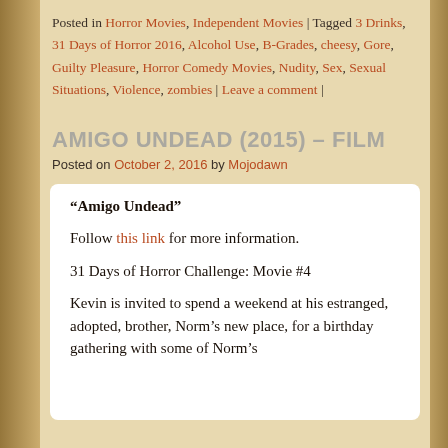Posted in Horror Movies, Independent Movies | Tagged 3 Drinks, 31 Days of Horror 2016, Alcohol Use, B-Grades, cheesy, Gore, Guilty Pleasure, Horror Comedy Movies, Nudity, Sex, Sexual Situations, Violence, zombies | Leave a comment |
AMIGO UNDEAD (2015) – FILM
Posted on October 2, 2016 by Mojodawn
“Amigo Undead”
Follow this link for more information.
31 Days of Horror Challenge: Movie #4
Kevin is invited to spend a weekend at his estranged, adopted, brother, Norm’s new place, for a birthday gathering with some of Norm’s